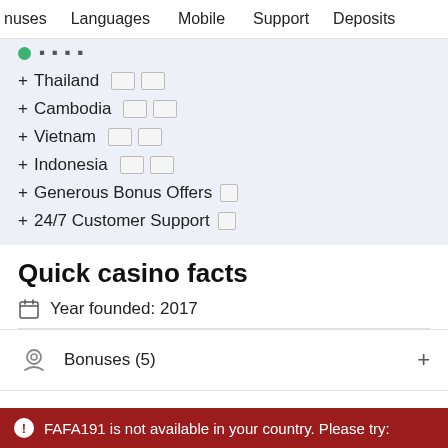nuses  Languages  Mobile  Support  Deposits
+ [partial/green dot item]
+ Thailand 🇹🇭
+ Cambodia 🇰🇭
+ Vietnam 🇻🇳
+ Indonesia 🇮🇩
+ Generous Bonus Offers
+ 24/7 Customer Support
Quick casino facts
Year founded: 2017
Bonuses (5)
Countries (7)
Currencies (5)
FAFA191 is not available in your country. Please try: